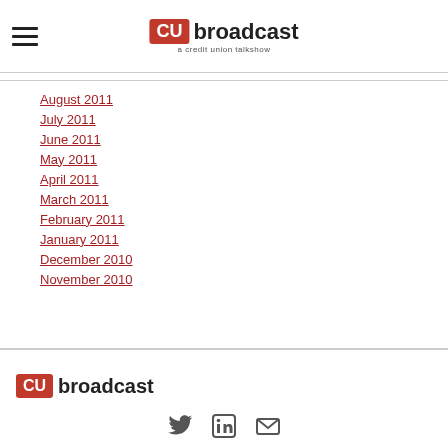CU broadcast - a credit union talkshow
August 2011
July 2011
June 2011
May 2011
April 2011
March 2011
February 2011
January 2011
December 2010
November 2010
CU broadcast